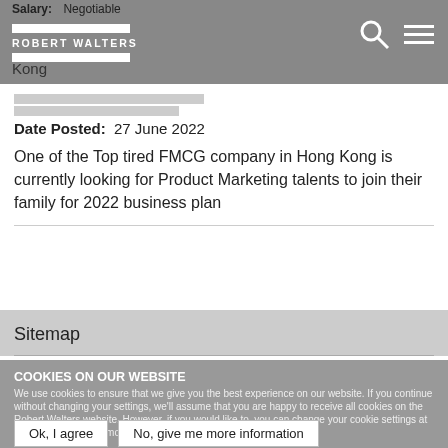Salary: Negotiable | Hong Kong
Date Posted:  27 June 2022
One of the Top tired FMCG company in Hong Kong is currently looking for Product Marketing talents to join their family for 2022 business plan
Sitemap
COOKIES ON OUR WEBSITE
We use cookies to ensure that we give you the best experience on our website. If you continue without changing your settings, we'll assume that you are happy to receive all cookies on the Robert Walters website. However, if you would like to, you can change your cookie settings at any time. To find out more, please view our cookies policy.
Ok, I agree | No, give me more information